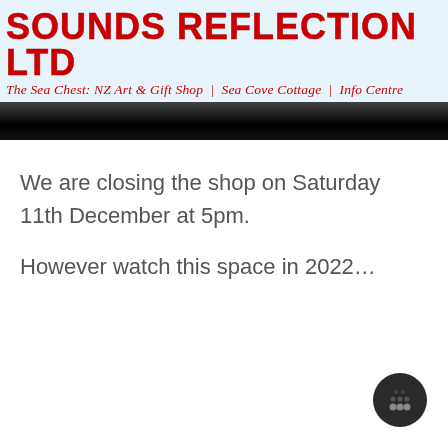SOUNDS REFLECTION LTD
The Sea Chest: NZ Art & Gift Shop | Sea Cove Cottage | Info Centre
We are closing the shop on Saturday 11th December at 5pm.
However watch this space in 2022...
[Figure (other): Dark loading spinner icon in bottom right corner]